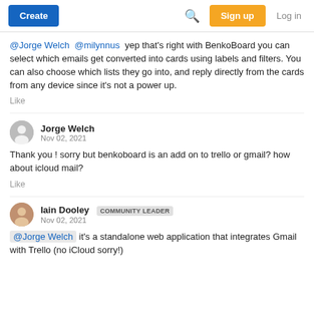Create | Search | Sign up | Log in
@Jorge Welch @milynnus yep that's right with BenkoBoard you can select which emails get converted into cards using labels and filters. You can also choose which lists they go into, and reply directly from the cards from any device since it's not a power up.
Like
Jorge Welch
Nov 02, 2021
Thank you ! sorry but benkoboard is an add on to trello or gmail? how about icloud mail?
Like
Iain Dooley COMMUNITY LEADER
Nov 02, 2021
@Jorge Welch it's a standalone web application that integrates Gmail with Trello (no iCloud sorry!)